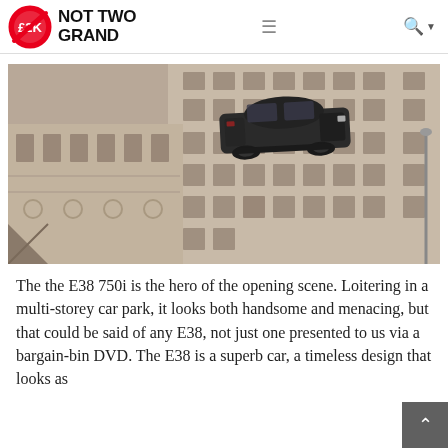NOT TWO GRAND
[Figure (photo): A dark BMW E38 750i car appears to be flying or jumping in mid-air in front of a large Parisian-style building facade with many windows and balconies. The scene appears to be a still from a film.]
The the E38 750i is the hero of the opening scene. Loitering in a multi-storey car park, it looks both handsome and menacing, but that could be said of any E38, not just one presented to us via a bargain-bin DVD. The E38 is a superb car, a timeless design that looks as